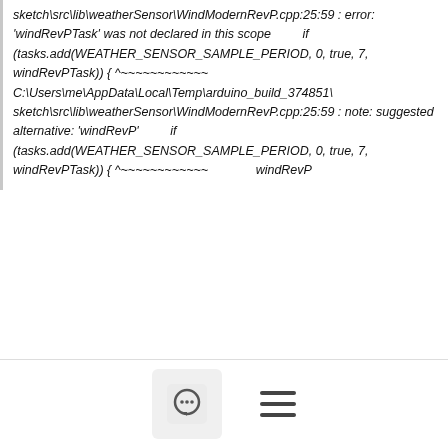[Figure (screenshot): Code error output block showing compiler error: sketch\src\lib\weatherSensor\WindModernRevP.cpp:25:59 : error: 'windRevPTask' was not declared in this scope, with code snippet and caret indicator, followed by note: suggested alternative: 'windRevP' with repeated code snippet and caret plus windRevP label]
Good.  I patched the little typo for the RevP compiles now.
[Figure (screenshot): Second code block beginning with: Thes ETHERNET_RESET_PIN]
[Figure (screenshot): Bottom navigation bar with chat bubble icon button and hamburger menu icon]